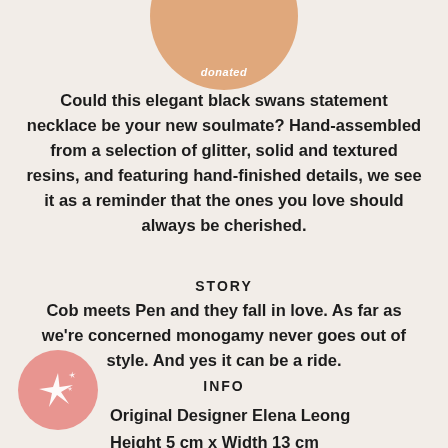[Figure (illustration): Partially visible peach/tan circle at top center with italic white text 'donated']
Could this elegant black swans statement necklace be your new soulmate? Hand-assembled from a selection of glitter, solid and textured resins, and featuring hand-finished details, we see it as a reminder that the ones you love should always be cherished.
STORY
Cob meets Pen and they fall in love. As far as we're concerned monogamy never goes out of style. And yes it can be a ride.
INFO
[Figure (illustration): Salmon/coral circle with white sparkle star icon at bottom left]
Original Designer Elena Leong
Height 5 cm x Width 13 cm